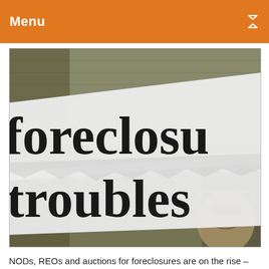Menu
[Figure (photo): Close-up photograph of torn newspaper headlines reading 'foreclosure' and 'troubles' overlaid on top of US dollar bills, with Benjamin Franklin's face visible in the lower right corner.]
NODs, REOs and auctions for foreclosures are on the rise – last month reaching the highest point since spring 2010. From September to October of this year, fillings jumped by a whopping 15%, so says RealtyTrac in their just